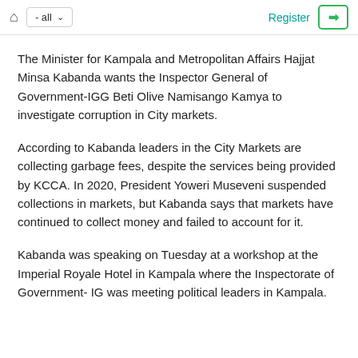home | - all | Register | login
The Minister for Kampala and Metropolitan Affairs Hajjat Minsa Kabanda wants the Inspector General of Government-IGG Beti Olive Namisango Kamya to investigate corruption in City markets.
According to Kabanda leaders in the City Markets are collecting garbage fees, despite the services being provided by KCCA. In 2020, President Yoweri Museveni suspended collections in markets, but Kabanda says that markets have continued to collect money and failed to account for it.
Kabanda was speaking on Tuesday at a workshop at the Imperial Royale Hotel in Kampala where the Inspectorate of Government- IG was meeting political leaders in Kampala.